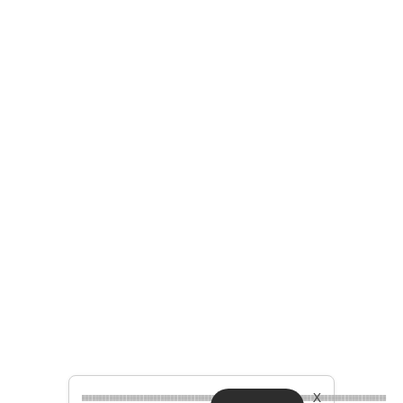[Figure (screenshot): A cookie consent banner overlay on a webpage. The banner contains garbled/redacted text lines with links to (Privacy Policy) and (Cookies Policy), a dark rounded OK button with horizontal lines, and an X close button. Behind the banner, partially visible bold text reads '100 OBJECTS OF POLITICAL CAMPAIG...' The banner also contains bold text 'EXHIBIT TILL SUNDAY'.]